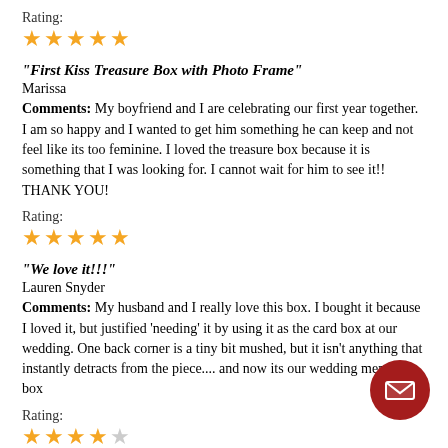Rating:
[Figure (other): 5 filled orange stars rating]
"First Kiss Treasure Box with Photo Frame"
Marissa
Comments: My boyfriend and I are celebrating our first year together. I am so happy and I wanted to get him something he can keep and not feel like its too feminine. I loved the treasure box because it is something that I was looking for. I cannot wait for him to see it!! THANK YOU!
Rating:
[Figure (other): 5 filled orange stars rating]
"We love it!!!"
Lauren Snyder
Comments: My husband and I really love this box. I bought it because I loved it, but justified 'needing' it by using it as the card box at our wedding. One back corner is a tiny bit mushed, but it isn't anything that instantly detracts from the piece.... and now its our wedding memory box
Rating:
[Figure (other): 4 filled orange stars and 1 empty star rating]